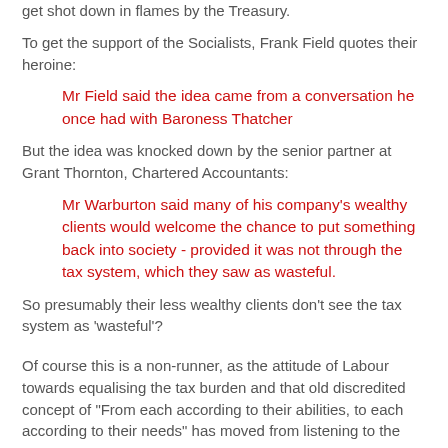get shot down in flames by the Treasury.
To get the support of the Socialists, Frank Field quotes their heroine:
Mr Field said the idea came from a conversation he once had with Baroness Thatcher
But the idea was knocked down by the senior partner at Grant Thornton, Chartered Accountants:
Mr Warburton said many of his company's wealthy clients would welcome the chance to put something back into society - provided it was not through the tax system, which they saw as wasteful.
So presumably their less wealthy clients don't see the tax system as 'wasteful'?
Of course this is a non-runner, as the attitude of Labour towards equalising the tax burden and that old discredited concept of "From each according to their abilities, to each according to their needs" has moved from listening to the